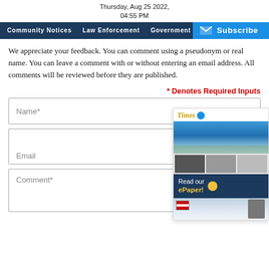Thursday, Aug 25 2022,
04:55 PM
Community Notices  Law Enforcement  Government  Hurricane Watch  CO...
We appreciate your feedback. You can comment using a pseudonym or real name. You can leave a comment with or without entering an email address. All comments will be reviewed before they are published.
* Denotes Required Inputs
Name*
Email
Comment*
[Figure (screenshot): ePaper subscription widget showing the Cayman Times newspaper logo with a blue dot, an aerial photo of a coastal town, thumbnail images of news stories, a 'Read our ePaper!' button with navy background and yellow text, and a photo at the bottom.]